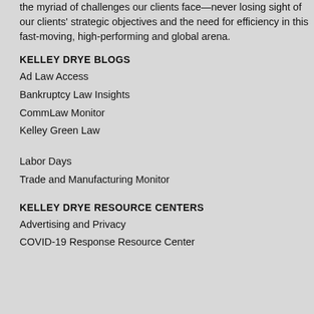the myriad of challenges our clients face—never losing sight of our clients' strategic objectives and the need for efficiency in this fast-moving, high-performing and global arena.
KELLEY DRYE BLOGS
Ad Law Access
Bankruptcy Law Insights
CommLaw Monitor
Kelley Green Law
Labor Days
Trade and Manufacturing Monitor
KELLEY DRYE RESOURCE CENTERS
Advertising and Privacy
COVID-19 Response Resource Center